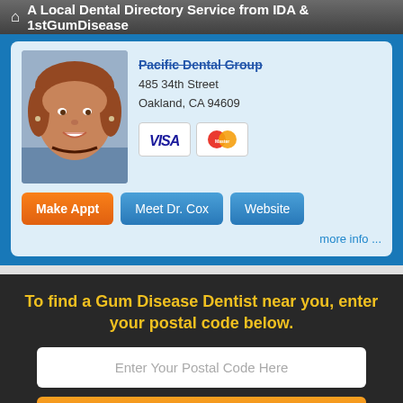A Local Dental Directory Service from IDA & 1stGumDisease
Pacific Dental Group
485 34th Street
Oakland, CA 94609
[Figure (photo): Portrait photo of a smiling woman with brown hair, wearing a necklace and blue shirt]
[Figure (other): Payment method icons: VISA and MasterCard]
Make Appt   Meet Dr. Cox   Website
more info ...
To find a Gum Disease Dentist near you, enter your postal code below.
Enter Your Postal Code Here
Click Here To Find a Dentist